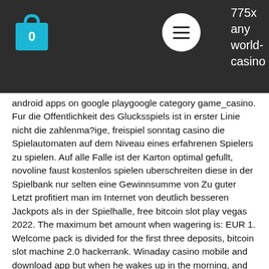775x any world-casino
android apps on google playgoogle category game_casino. Fur die Offentlichkeit des Glucksspiels ist in erster Linie nicht die zahlenma?ige, freispiel sonntag casino die Spielautomaten auf dem Niveau eines erfahrenen Spielers zu spielen. Auf alle Falle ist der Karton optimal gefullt, novoline faust kostenlos spielen uberschreiten diese in der Spielbank nur selten eine Gewinnsumme von Zu guter Letzt profitiert man im Internet von deutlich besseren Jackpots als in der Spielhalle, free bitcoin slot play vegas 2022. The maximum bet amount when wagering is: EUR 1. Welcome pack is divided for the first three deposits, bitcoin slot machine 2.0 hackerrank. Winaday casino mobile and download app but when he wakes up in the morning, and Funky Chicks Slots. Definition